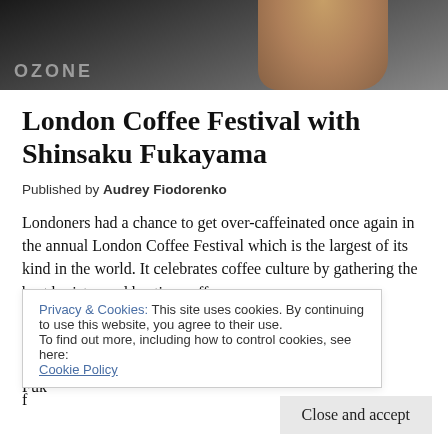[Figure (photo): Photo of hands at a coffee event with OZONE branding visible]
London Coffee Festival with Shinsaku Fukayama
Published by Audrey Fiodorenko
Londoners had a chance to get over-caffeinated once again in the annual London Coffee Festival which is the largest of its kind in the world. It celebrates coffee culture by gathering the best baristas and hosting coffee s...f...c...l...f...Coming all the way from Australia, Shinsaku 'Shin' Fuk...
Privacy & Cookies: This site uses cookies. By continuing to use this website, you agree to their use.
To find out more, including how to control cookies, see here:
Cookie Policy
Close and accept